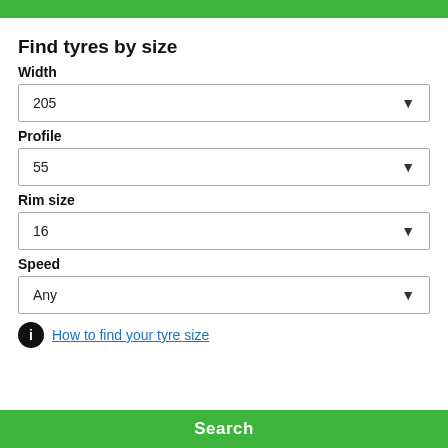Find tyres by size
Width
205
Profile
55
Rim size
16
Speed
Any
How to find your tyre size
Search